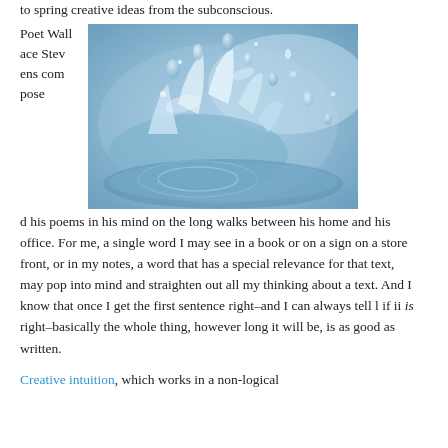to spring creative ideas from the subconscious.
Poet Wallace Stevens composed his poems in his mind on the long walks between his home and his office. For me, a single word I may see in a book or on a sign on a store front, or in my notes, a word that has a special relevance for that text, may pop into mind and straighten out all my thinking about a text. And I know that once I get the first sentence right–and I can always tell l if ii is right–basically the whole thing, however long it will be, is as good as written.
[Figure (photo): Close-up photograph of water droplets and splashing water with blue tones]
Creative intuition, which works in a non-logical